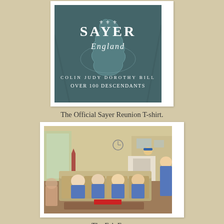[Figure (photo): Close-up photo of a dark blue/teal T-shirt with 'SAYER England' text and a map of England, reading 'Colin Judy Dorothy Bill Over 100 Descendants']
The Official Sayer Reunion T-shirt.
[Figure (photo): Group photo of four elderly people seated on a couch in a living room, all wearing blue T-shirts, with another person standing to the right]
The Fab Four.